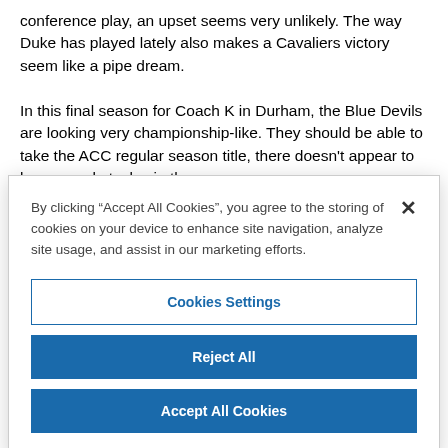conference play, an upset seems very unlikely. The way Duke has played lately also makes a Cavaliers victory seem like a pipe dream. In this final season for Coach K in Durham, the Blue Devils are looking very championship-like. They should be able to take the ACC regular season title, there doesn't appear to be many obstacles in the
By clicking “Accept All Cookies”, you agree to the storing of cookies on your device to enhance site navigation, analyze site usage, and assist in our marketing efforts.
Cookies Settings
Reject All
Accept All Cookies